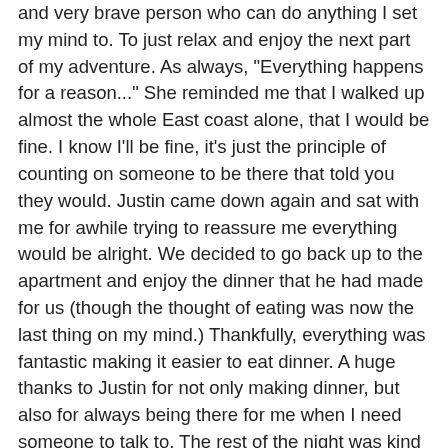and very brave person who can do anything I set my mind to. To just relax and enjoy the next part of my adventure. As always, "Everything happens for a reason..." She reminded me that I walked up almost the whole East coast alone, that I would be fine. I know I'll be fine, it's just the principle of counting on someone to be there that told you they would. Justin came down again and sat with me for awhile trying to reassure me everything would be alright. We decided to go back up to the apartment and enjoy the dinner that he had made for us (though the thought of eating was now the last thing on my mind.) Thankfully, everything was fantastic making it easier to eat dinner. A huge thanks to Justin for not only making dinner, but also for always being there for me when I need someone to talk to. The rest of the night was kind of a daze, and not the 4/20 kind of daze (though Garvey did want Echelle to attempt helping him make some brownies, this did not happen however.) My face was on fire, we sat awkwardly in random silences which were broken by small talk, I uploaded the last of the photos for today, and went and got things to take a cold shower before bed. Rosie packed up most of her stuff; leaving her sleeping bag, sleeping mat, and other random items she wouldn't be able